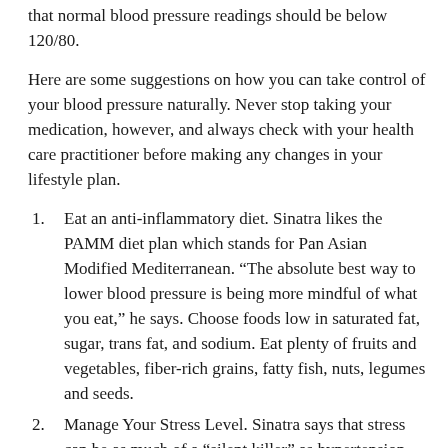that normal blood pressure readings should be below 120/80.
Here are some suggestions on how you can take control of your blood pressure naturally. Never stop taking your medication, however, and always check with your health care practitioner before making any changes in your lifestyle plan.
Eat an anti-inflammatory diet. Sinatra likes the PAMM diet plan which stands for Pan Asian Modified Mediterranean. “The absolute best way to lower blood pressure is being more mindful of what you eat,” he says. Choose foods low in saturated fat, sugar, trans fat, and sodium. Eat plenty of fruits and vegetables, fiber-rich grains, fatty fish, nuts, legumes and seeds.
Manage Your Stress Level. Sinatra says that stress can be as much of a “silent killer” as hypertension. When we are tense ourbodies produce hormones that constrict blood vessels, making our blood pressure